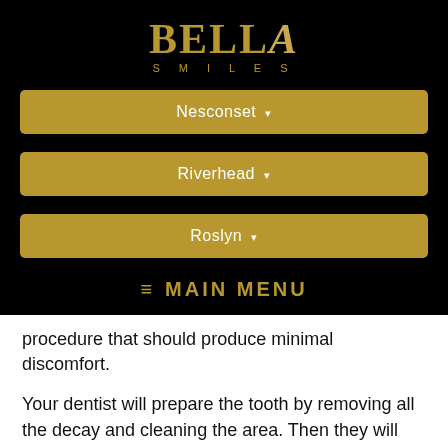[Figure (logo): Bella Smiles dental practice logo with gold text on black background]
Nesconset ▾
Riverhead ▾
Roslyn ▾
≡ MAIN MENU
procedure that should produce minimal discomfort.
Your dentist will prepare the tooth by removing all the decay and cleaning the area. Then they will place the filling material and form it to provide a natural looking and comfortable surface for normal chewing and speaking.